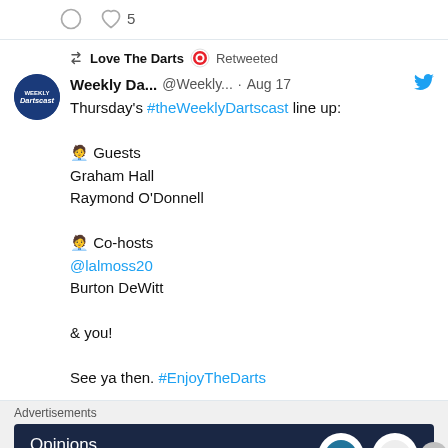[Figure (screenshot): Top strip with comment icon and heart/like icon showing 5 likes]
Love The Darts Retweeted
Weekly Da... @Weekly... · Aug 17
Thursday's #theWeeklyDartscast line up:

👤 Guests
Graham Hall
Raymond O'Donnell

👤 Co-hosts
@lalmoss20
Burton DeWitt

& you!

See ya then. #EnjoyTheDarts
Advertisements
[Figure (screenshot): Advertisement banner: Opinions. We all have them! with WordPress and Read Now logos]